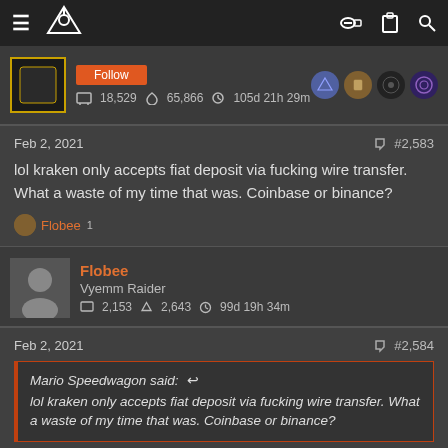Forum navigation bar with hamburger menu, logo, key icon, clipboard icon, search icon
[Figure (screenshot): User profile bar showing avatar, follow button, stats: 18,529 comments, 65,866 likes, 105d 21h 29m, and 4 badge icons]
Feb 2, 2021   #2,583
lol kraken only accepts fiat deposit via fucking wire transfer. What a waste of my time that was. Coinbase or binance?
Flobee 1
[Figure (screenshot): User profile row: Flobee, Vyemm Raider, 2,153 comments, 2,643 likes, 99d 19h 34m]
Feb 2, 2021   #2,584
Mario Speedwagon said: (reply icon)
lol kraken only accepts fiat deposit via fucking wire transfer. What a waste of my time that was. Coinbase or binance?
What is funny about this is that Kraken was recently approved for a banking license, but still cant do ACH. I would rate the remaining US exchanges Gemini -> Coinbase -> Binance